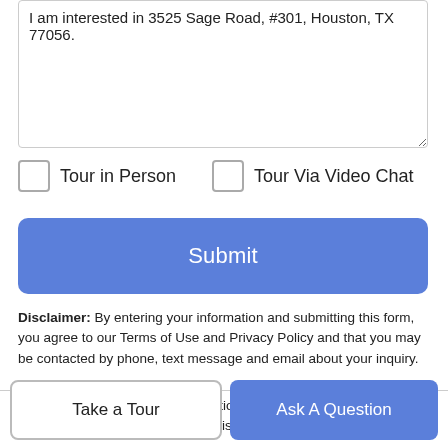I am interested in 3525 Sage Road, #301, Houston, TX 77056.
Tour in Person
Tour Via Video Chat
Submit
Disclaimer: By entering your information and submitting this form, you agree to our Terms of Use and Privacy Policy and that you may be contacted by phone, text message and email about your inquiry.
© 2022 Houston Realtors Information Service, Inc. All rights reserved. All information provided is deemed reliable but is not
Take a Tour
Ask A Question